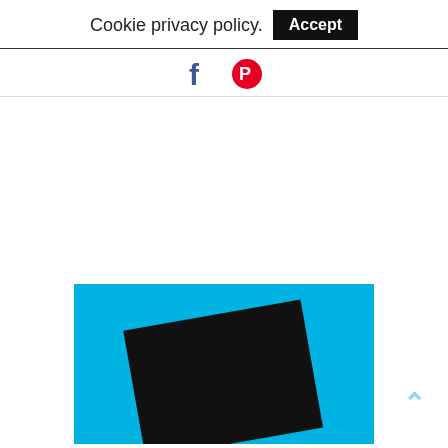Cookie privacy policy.  Accept
[Figure (illustration): Facebook 'f' icon in dark blue and Pinterest circular icon in red, side by side as social share buttons]
[Figure (photo): Partial view of a book or product cover with a bright cyan/light blue background and a black rectangular shape (possibly a device or book) tilted slightly, visible at bottom of page]